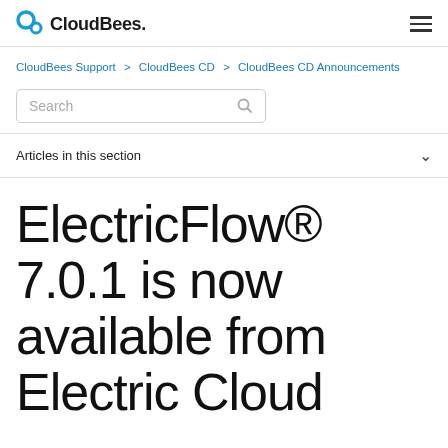CloudBees.
CloudBees Support > CloudBees CD > CloudBees CD Announcements
Search
Articles in this section
ElectricFlow® 7.0.1 is now available from Electric Cloud